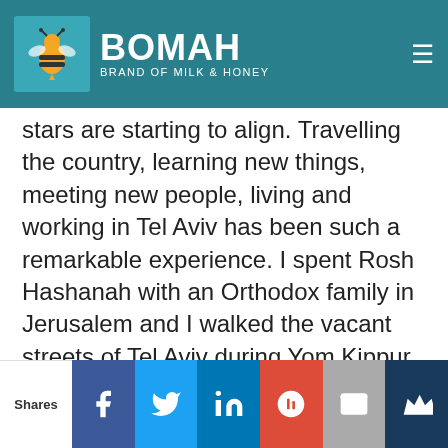BOMAH – BRAND OF MILK & HONEY
stars are starting to align. Travelling the country, learning new things, meeting new people, living and working in Tel Aviv has been such a remarkable experience. I spent Rosh Hashanah with an Orthodox family in Jerusalem and I walked the vacant streets of Tel Aviv during Yom Kippur. My boss, Itzik Yarkoni, has also taken me under his wing and given me a great amount of responsibility and training.
My internship is with BOMAH – Brand Of Milk And Honey. My position as Social Media Manager has challenged me to learn this new
Shares | Facebook | Twitter | LinkedIn | Google+ | Email | Crown